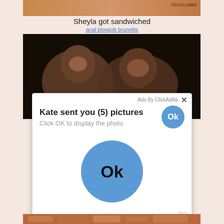[Figure (screenshot): Partial top image strip from adult website with watermark 'hislut.com']
Sheyla got sandwiched
anal blowjob brunette
[Figure (photo): Dark photo of two people]
[Figure (screenshot): Ad popup overlay: 'Kate sent you (5) pictures / Click OK to display the photo' with blue Ok button, large Ok button below, footer '2sd'. Header says 'Ads By ClickAdilla' with X close button.]